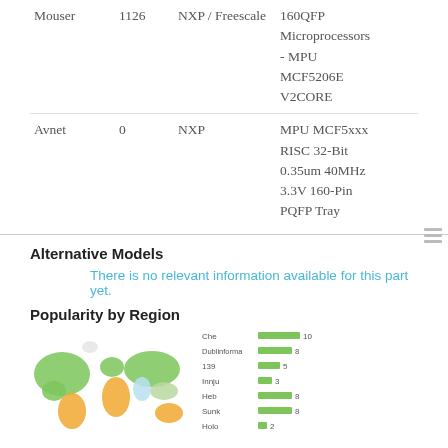| Distributor | Stock | Manufacturer | Description |
| --- | --- | --- | --- |
| Mouser | 1126 | NXP / Freescale | 160QFP Microprocessors - MPU MCF5206E V2CORE |
| Avnet | 0 | NXP | MPU MCF5xxx RISC 32-Bit 0.35um 40MHz 3.3V 160-Pin PQFP Tray |
Alternative Models
There is no relevant information available for this part yet.
Popularity by Region
[Figure (map): World map showing popularity by region with colored countries]
[Figure (bar-chart): Popularity by Region]